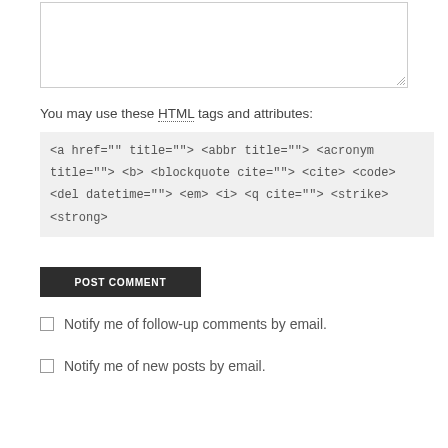You may use these HTML tags and attributes: <a href="" title=""> <abbr title=""> <acronym title=""> <b> <blockquote cite=""> <cite> <code> <del datetime=""> <em> <i> <q cite=""> <strike> <strong>
POST COMMENT
Notify me of follow-up comments by email.
Notify me of new posts by email.